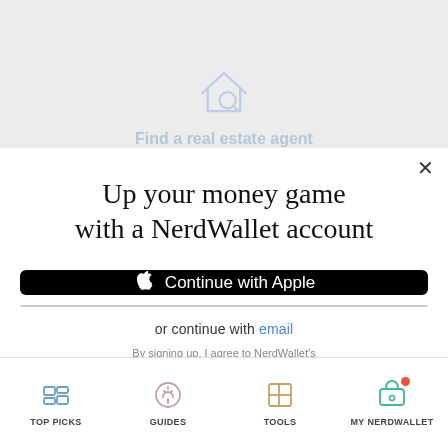[Figure (illustration): House with magnifying glass icon in blue outline style]
Find a real estate agent
Up your money game with a NerdWallet account
[Figure (screenshot): Continue with Apple button — black background, white Apple logo and text]
[Figure (screenshot): Continue with Google button — white panel with Google G logo, blue panel with white text]
or continue with email
By signing up, I agree to NerdWallet's Terms of Service and Privacy Policy.
TOP PICKS   GUIDES   TOOLS   MY NERDWALLET